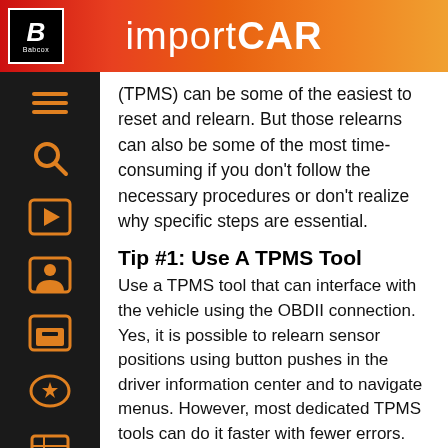importCAR
(TPMS) can be some of the easiest to reset and relearn. But those relearns can also be some of the most time-consuming if you don't follow the necessary procedures or don't realize why specific steps are essential.
Tip #1: Use A TPMS Tool
Use a TPMS tool that can interface with the vehicle using the OBDII connection. Yes, it is possible to relearn sensor positions using button pushes in the driver information center and to navigate menus. However, most dedicated TPMS tools can do it faster with fewer errors. Also, for most models, you will need a TPMS tool to program new sensors to the vehicle.